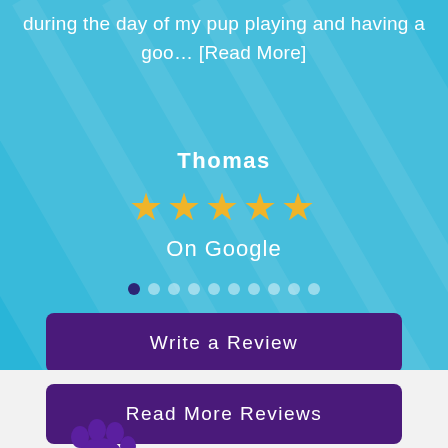during the day of my pup playing and having a goo… [Read More]
Thomas
[Figure (infographic): Five gold stars rating]
On Google
[Figure (infographic): Pagination dots row, first dot active (dark purple), nine more inactive dots]
Write a Review
Read More Reviews
[Figure (logo): Purple paw print logo at bottom left of grey section]